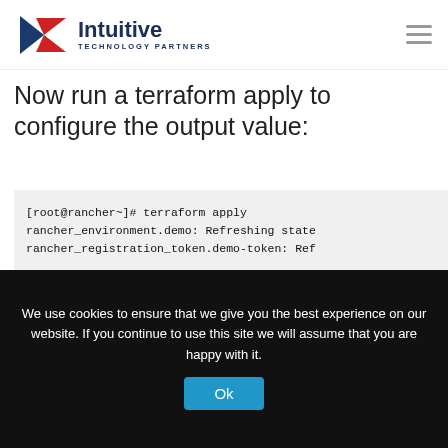Intuitive Technology Partners
Now run a terraform apply to configure the output value:
[root@rancher~]# terraform apply
rancher_environment.demo: Refreshing state...
rancher_registration_token.demo-token: Ref...

Apply complete! Resources: 0 added, 0 chan...

Outputs:
rancher_agent_command = sudo docker run -d...
We use cookies to ensure that we give you the best experience on our website. If you continue to use this site we will assume that you are happy with it.